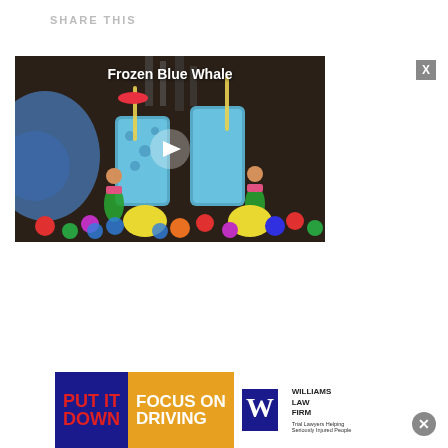SHARE THIS
[Figure (screenshot): Video thumbnail showing 'Frozen Blue Whale' cocktail with hula dancer figurines, blue drinks, tropical flowers, and a play button overlay]
[Figure (screenshot): Advertisement banner reading 'PUT IT DOWN FOCUS ON DRIVING - WILLIAMS LAW FIRM Trial Lawyers Helping Seriously Injured People']